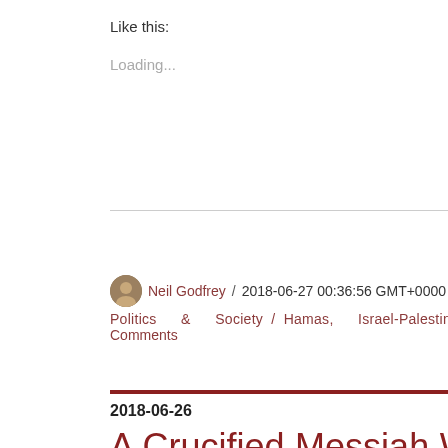Like this:
Loading...
Neil Godfrey / 2018-06-27 00:36:56 GMT+0000 / Politics & Society / Hamas, Israel-Palestine / 16 Comments
2018-06-26
A Crucified Messiah Was Not an Offensive Scandal to Jews (with a postscript on evangelical language among scholars)